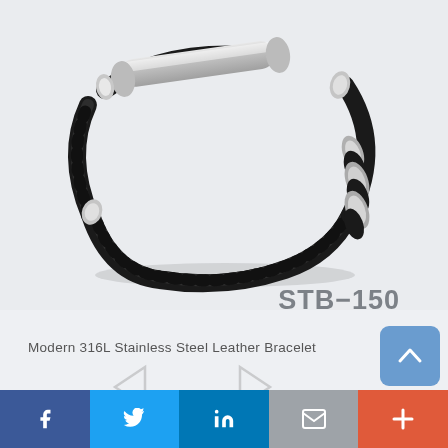[Figure (photo): Black braided leather bracelet with stainless steel tube bar accent and ringed beads]
STB-150
Modern 316L Stainless Steel Leather Bracelet